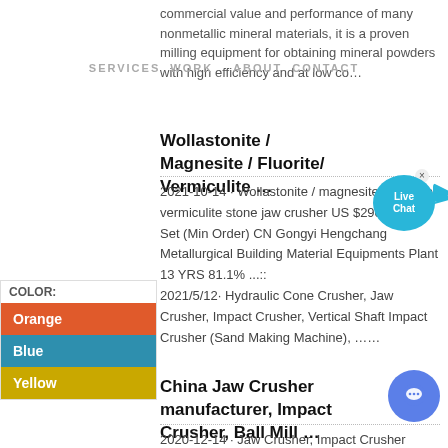commercial value and performance of many nonmetallic mineral materials, it is a proven milling equipment for obtaining mineral powders with high efficiency and at low co…
SERVICES  WORK    ABOUT  CONTACT
Wollastonite / Magnesite / Fluorite/ Vermiculite …
2021-10-14 · Wollastonite / magnesite / Fluorite/ vermiculite stone jaw crusher US $2900 / Set 1 Set (Min Order) CN Gongyi Hengchang Metallurgical Building Material Equipments Plant 13 YRS 81.1% ...::· 2021/5/12· Hydraulic Cone Crusher, Jaw Crusher, Impact Crusher, Vertical Shaft Impact Crusher (Sand Making Machine), ……
China Jaw Crusher manufacturer, Impact Crusher, Ball Mill …
2020-12-14 · Jaw Crusher, Impact Crusher